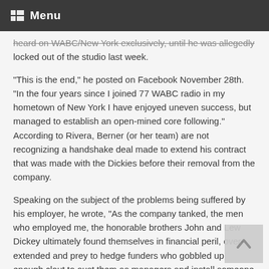Menu
heard on WABC/New York exclusively, until he was allegedly locked out of the studio last week.
“This is the end,” he posted on Facebook November 28th. “In the four years since I joined 77 WABC radio in my hometown of New York I have enjoyed uneven success, but managed to establish an open-mined core following.” According to Rivera, Berner (or her team) are not recognizing a handshake deal made to extend his contract that was made with the Dickies before their removal from the company.
Speaking on the subject of the problems being suffered by his employer, he wrote, “As the company tanked, the men who employed me, the honorable brothers John and Lew Dickey ultimately found themselves in financial peril, over-extended and prey to hedge funders who gobbled up enough clout to oust them as managers and install someone who had no experience in broadcasting but who apparently impressed those adventurous investors.”
While I tend to agree that someone with no experience in radio